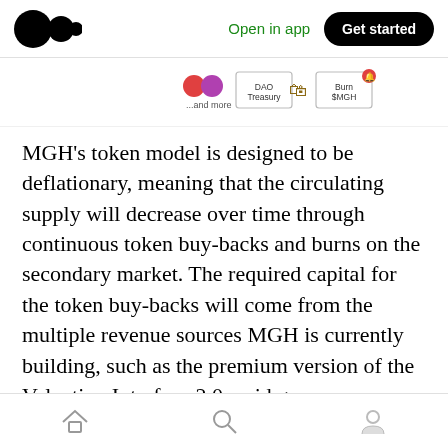Open in app   Get started
[Figure (infographic): Partial diagram showing token flow icons: colored icons on left, DAO Treasury box with bag icon in center, Burn $MGH box with fire icon on right]
MGH's token model is designed to be deflationary, meaning that the circulating supply will decrease over time through continuous token buy-backs and burns on the secondary market. The required capital for the token buy-backs will come from the multiple revenue sources MGH is currently building, such as the premium version of the Valuation Interface 2.0, paid game experiences on MGH's Metaverse LANDs, GambleFi and more.
Home  Search  Profile